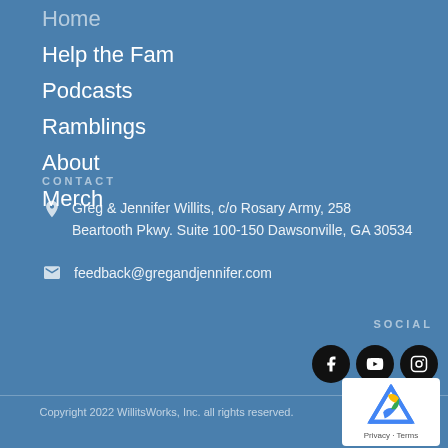Home
Help the Fam
Podcasts
Ramblings
About
Merch
CONTACT
Greg & Jennifer Willits, c/o Rosary Army, 258 Beartooth Pkwy. Suite 100-150 Dawsonville, GA 30534
feedback@gregandjennifer.com
SOCIAL
[Figure (illustration): Social media icons: Facebook, YouTube, Instagram circular black buttons]
[Figure (illustration): reCAPTCHA badge with logo and Privacy - Terms links]
Copyright 2022 WillitsWorks, Inc. all rights reserved.